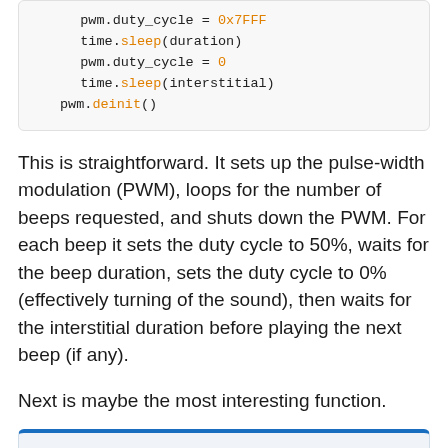[Figure (screenshot): Code block showing Python code snippet with pwm.duty_cycle = 0x7FFF, time.sleep(duration), pwm.duty_cycle = 0, time.sleep(interstitial), pwm.deinit() with syntax highlighting]
This is straightforward. It sets up the pulse-width modulation (PWM), loops for the number of beeps requested, and shuts down the PWM. For each beep it sets the duty cycle to 50%, waits for the beep duration, sets the duty cycle to 0% (effectively turning of the sound), then waits for the interstitial duration before playing the next beep (if any).
Next is maybe the most interesting function.
[Figure (screenshot): Bottom of a code box with blue top border, partially visible]